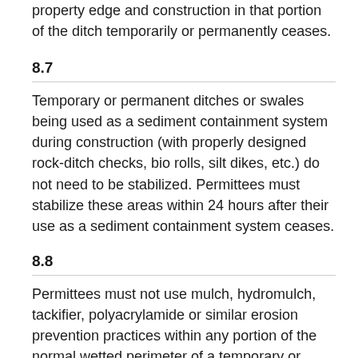property edge and construction in that portion of the ditch temporarily or permanently ceases.
8.7
Temporary or permanent ditches or swales being used as a sediment containment system during construction (with properly designed rock-ditch checks, bio rolls, silt dikes, etc.) do not need to be stabilized. Permittees must stabilize these areas within 24 hours after their use as a sediment containment system ceases.
8.8
Permittees must not use mulch, hydromulch, tackifier, polyacrylamide or similar erosion prevention practices within any portion of the normal wetted perimeter of a temporary or permanent drainage ditch or swale section with a continuous slope of greater than 2 percent.